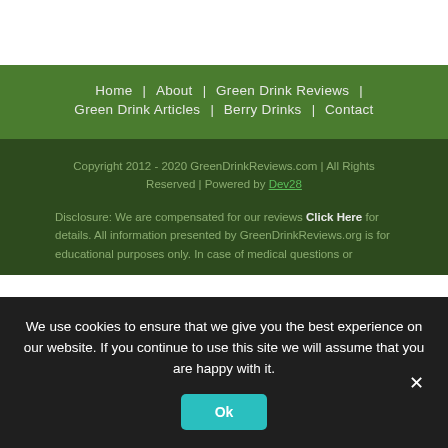Home | About | Green Drink Reviews | Green Drink Articles | Berry Drinks | Contact
Copyright 2012 - 2020 GreenDrinkReviews.com | All Rights Reserved | Powered by Dev28

Disclosure: We are compensated for our reviews Click Here for details. All information presented by GreenDrinkReviews.org is for educational purposes only. In case of medical questions or
We use cookies to ensure that we give you the best experience on our website. If you continue to use this site we will assume that you are happy with it.